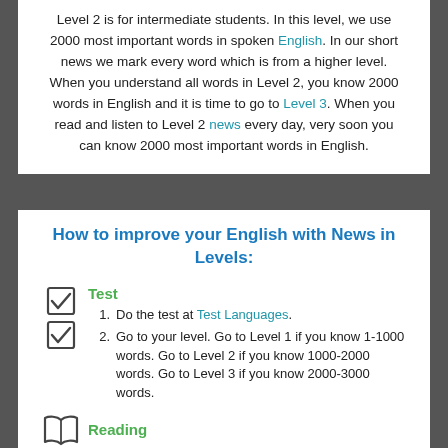Level 2 is for intermediate students. In this level, we use 2000 most important words in spoken English. In our short news we mark every word which is from a higher level. When you understand all words in Level 2, you know 2000 words in English and it is time to go to Level 3. When you read and listen to Level 2 news every day, very soon you can know 2000 most important words in English.
How to improve your English with News in Levels:
Test
1. Do the test at Test Languages.
2. Go to your level. Go to Level 1 if you know 1-1000 words. Go to Level 2 if you know 1000-2000 words. Go to Level 3 if you know 2000-3000 words.
Reading